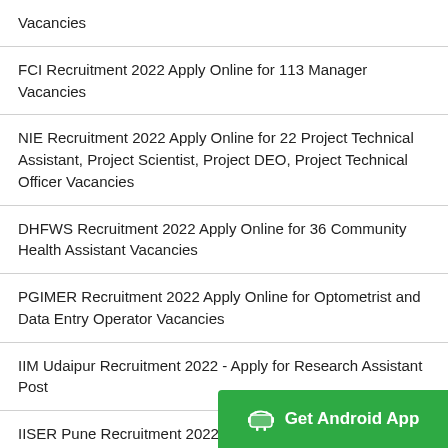Vacancies
FCI Recruitment 2022 Apply Online for 113 Manager Vacancies
NIE Recruitment 2022 Apply Online for 22 Project Technical Assistant, Project Scientist, Project DEO, Project Technical Officer Vacancies
DHFWS Recruitment 2022 Apply Online for 36 Community Health Assistant Vacancies
PGIMER Recruitment 2022 Apply Online for Optometrist and Data Entry Operator Vacancies
IIM Udaipur Recruitment 2022 - Apply for Research Assistant Post
IISER Pune Recruitment 2022 Apply Online for 02 Research Associate, Administration Officer Vacancies
TNPSC Recruitment 2022 Apply for Section Officer, Assistant in Secretariat Vacancies